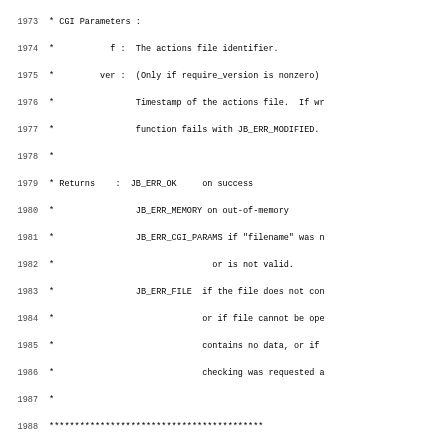Source code listing, lines 1973-2005, showing C function edit_read_actions_file with CGI parameters and returns documentation comment block, followed by function signature and early body.